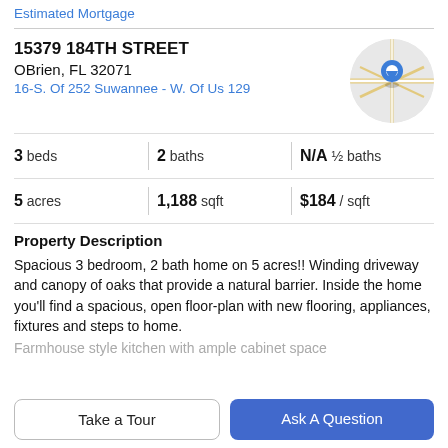Estimated Mortgage
15379 184TH STREET
OBrien, FL 32071
16-S. Of 252 Suwannee - W. Of Us 129
[Figure (map): Circular map thumbnail showing street map with a blue location pin marker]
3 beds | 2 baths | N/A ½ baths
5 acres | 1,188 sqft | $184 / sqft
Property Description
Spacious 3 bedroom, 2 bath home on 5 acres!! Winding driveway and canopy of oaks that provide a natural barrier. Inside the home you'll find a spacious, open floor-plan with new flooring, appliances, fixtures and steps to home.
Farmhouse style kitchen with ample cabinet space
Take a Tour | Ask A Question